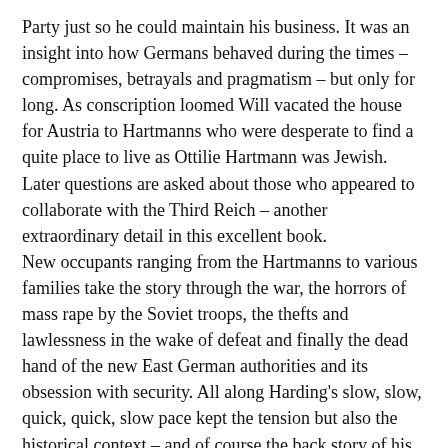Party just so he could maintain his business. It was an insight into how Germans behaved during the times – compromises, betrayals and pragmatism – but only for long. As conscription loomed Will vacated the house for Austria to Hartmanns who were desperate to find a quite place to live as Ottilie Hartmann was Jewish. Later questions are asked about those who appeared to collaborate with the Third Reich – another extraordinary detail in this excellent book.
New occupants ranging from the Hartmanns to various families take the story through the war, the horrors of mass rape by the Soviet troops, the thefts and lawlessness in the wake of defeat and finally the dead hand of the new East German authorities and its obsession with security. All along Harding's slow, slow, quick, quick, slow pace kept the tension but also the historical context – and of course the back story of his own efforts to gain the confidence of his relatives and the residents of the village in seeking to save the house from 21st century developers.
Harry Mottram